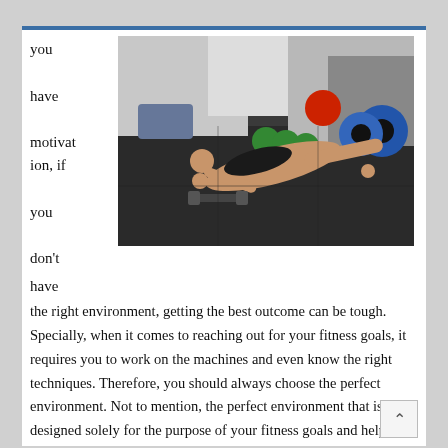you have motivation, if you don't have the right environment, getting the best outcome can be tough. Specially, when it comes to reaching out for your fitness goals, it requires you to work on the machines and even know the right techniques. Therefore, you should always choose the perfect environment. Not to mention, the perfect environment that is designed solely for the purpose of your fitness goals and helping you achieve is the gym Mitcham. When you get a membership and get access to the machines and the techniques, it would certainly uplift your motivation.
[Figure (photo): A person performing a push-up exercise in a gym with weights and equipment in the background]